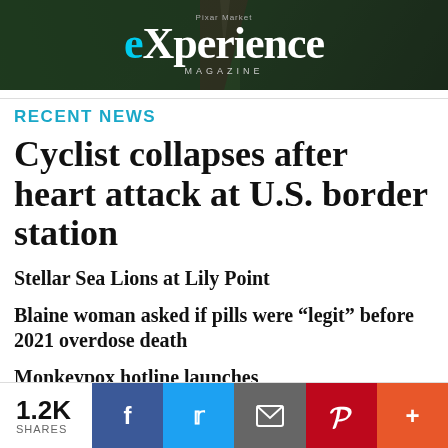[Figure (photo): Banner advertisement for 'experience MAGAZINE' with dark background showing a walkway/path through hedges]
RECENT NEWS
Cyclist collapses after heart attack at U.S. border station
Stellar Sea Lions at Lily Point
Blaine woman asked if pills were “legit” before 2021 overdose death
Monkeypox hotline launches
More news ►
1.2K SHARES | Facebook | Twitter | Email | Pinterest | More